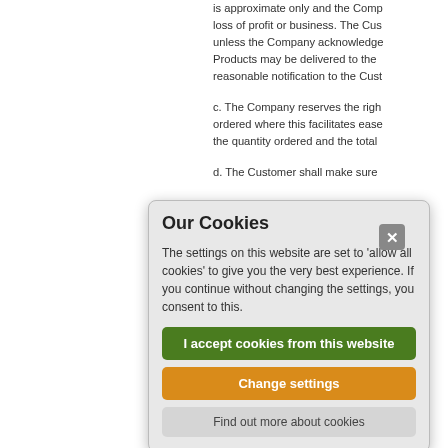is approximate only and the Company shall not be liable for loss of profit or business. The Customer shall not cancel orders unless the Company acknowledges the cancellation in writing. Products may be delivered to the Customer's premises on reasonable notification to the Customer.
c. The Company reserves the right to deliver more than ordered where this facilitates ease of manufacture, to the quantity ordered and the total
d. The Customer shall make sure
[Figure (screenshot): Cookie consent dialog box with title 'Our Cookies', body text about cookie settings, a green 'I accept cookies from this website' button, an orange 'Change settings' button, and a grey 'Find out more about cookies' button, with an X close button in the top right corner.]